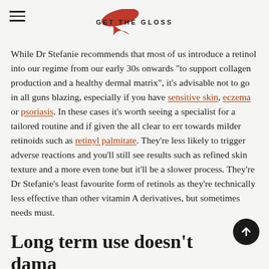GET THE GLOSS
While Dr Stefanie recommends that most of us introduce a retinol into our regime from our early 30s onwards "to support collagen production and a healthy dermal matrix", it's advisable not to go in all guns blazing, especially if you have sensitive skin, eczema or psoriasis. In these cases it's worth seeing a specialist for a tailored routine and if given the all clear to err towards milder retinoids such as retinyl palmitate. They're less likely to trigger adverse reactions and you'll still see results such as refined skin texture and a more even tone but it'll be a slower process. They're Dr Stefanie's least favourite form of retinols as they're technically less effective than other vitamin A derivatives, but sometimes needs must.
Long term use doesn't damage skin